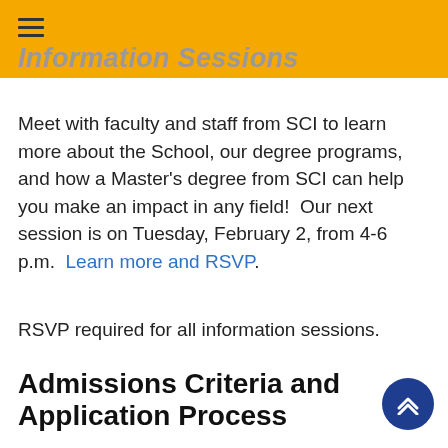Information Sessions
Meet with faculty and staff from SCI to learn more about the School, our degree programs, and how a Master's degree from SCI can help you make an impact in any field!  Our next session is on Tuesday, February 2, from 4-6 p.m.  Learn more and RSVP.
RSVP required for all information sessions.
Admissions Criteria and Application Process
The following information pertains to the admissions requirements required for guaranteed admission for each program: